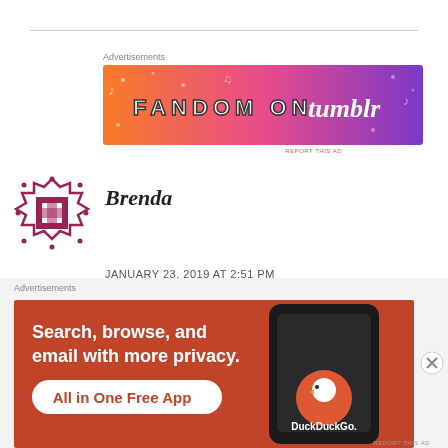[Figure (illustration): Fandom on Tumblr advertisement banner with orange-to-purple gradient background and decorative icons]
Advertisements
[Figure (illustration): Avatar/profile icon for user Brenda: a decorative geometric diamond pattern in dark pink/maroon]
Brenda
JANUARY 23, 2019 AT 2:51 PM
It is always a good thing to try to understand all viewpoints of a situation. However, this just
Advertisements
[Figure (illustration): DuckDuckGo advertisement: orange background with text 'Search, browse, and email with more privacy. All in One Free App' and a smartphone showing the DuckDuckGo app]